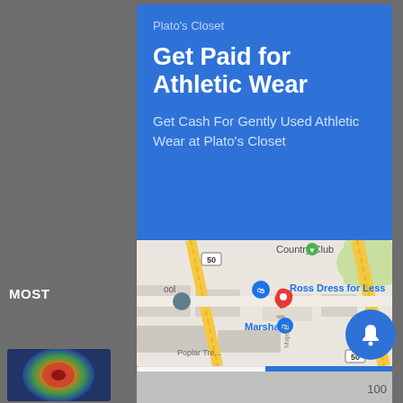[Figure (screenshot): Mobile app screenshot showing a Plato's Closet advertisement card with blue background, a Google Maps location map showing Ross Dress for Less, Marshalls locations, and two action buttons: Store info and Directions. A blue notification bell icon is overlaid in the lower right. Left side shows partial app content with 'MOST' text and a thumbnail image.]
Get Paid for Athletic Wear
Plato's Closet
Get Cash For Gently Used Athletic Wear at Plato's Closet
Store info
Directions